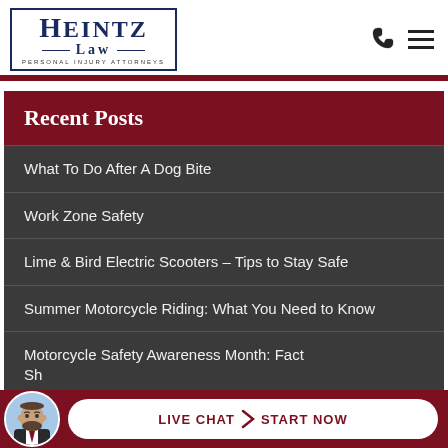HEINTZ LAW — PERSONAL INJURY ATTORNEYS
Recent Posts
What To Do After A Dog Bite
Work Zone Safety
Lime & Bird Electric Scooters – Tips to Stay Safe
Summer Motorcycle Riding: What You Need to Know
Motorcycle Safety Awareness Month: Fact Sh...
LIVE CHAT  START NOW